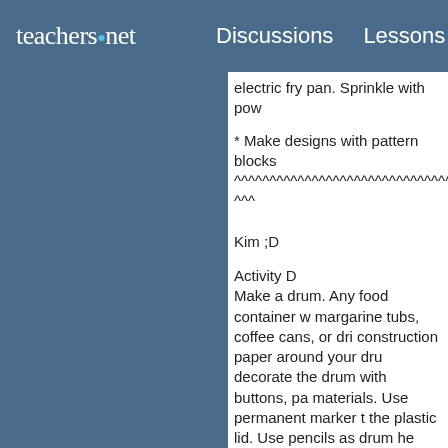teachers.net   Discussions   Lessons   Jo
electric fry pan. Sprinkle with pow
* Make designs with pattern blocks
^^^^^^^^^^^^^^^^^^^^^^^^^^^^^^^^^^^
^^^
Kim ;D
Activity D
Make a drum. Any food container w margarine tubs, coffee cans, or dri construction paper around your dru decorate the drum with buttons, pa materials. Use permanent marker t the plastic lid. Use pencils as drum he should say "d, d, d, d, d." It mig favorite tape and beat along with th
•Paper Dolls
Cut out and decorate paper dolls t with crayons, markers or paint. If d scrap material, rickrack, buttons,